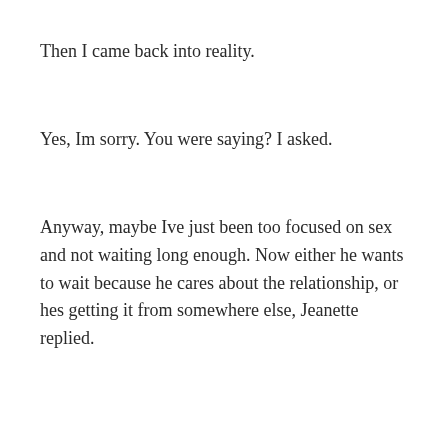Then I came back into reality.
Yes, Im sorry. You were saying? I asked.
Anyway, maybe Ive just been too focused on sex and not waiting long enough. Now either he wants to wait because he cares about the relationship, or hes getting it from somewhere else, Jeanette replied.